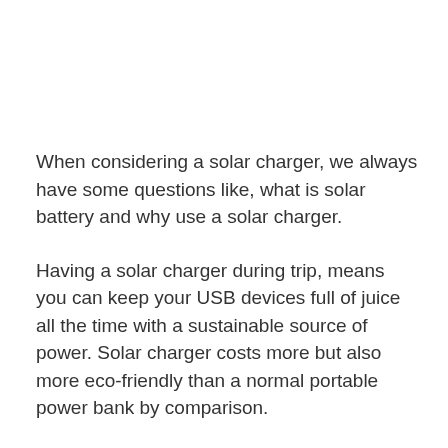When considering a solar charger, we always have some questions like, what is solar battery and why use a solar charger.
Having a solar charger during trip, means you can keep your USB devices full of juice all the time with a sustainable source of power. Solar charger costs more but also more eco-friendly than a normal portable power bank by comparison.
Here we collected 5 top solar chargers for you, you may find the best solar charger for iPhone or